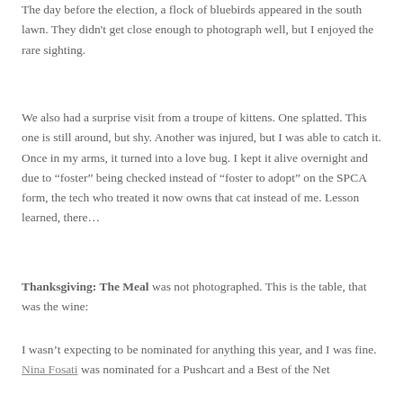The day before the election, a flock of bluebirds appeared in the south lawn. They didn't get close enough to photograph well, but I enjoyed the rare sighting.
We also had a surprise visit from a troupe of kittens. One splatted. This one is still around, but shy. Another was injured, but I was able to catch it. Once in my arms, it turned into a love bug. I kept it alive overnight and due to “foster” being checked instead of “foster to adopt” on the SPCA form, the tech who treated it now owns that cat instead of me. Lesson learned, there…
Thanksgiving: The Meal was not photographed. This is the table, that was the wine:
I wasn’t expecting to be nominated for anything this year, and I was fine. Nina Fosati was nominated for a Pushcart and a Best of the Net